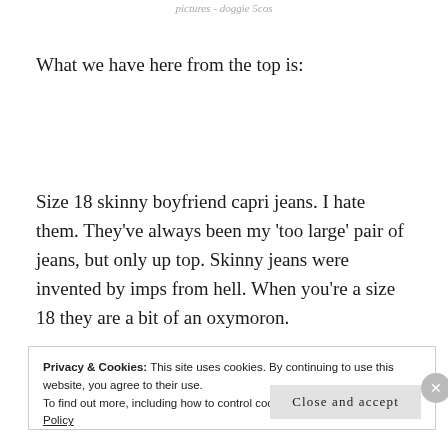pictures - doggie 5cos
What we have here from the top is:
Size 18 skinny boyfriend capri jeans.  I hate them.  They've always been my 'too large' pair of jeans, but only up top.  Skinny jeans were invented by imps from hell.  When you're a size 18 they are a bit of an oxymoron.
Privacy & Cookies: This site uses cookies. By continuing to use this website, you agree to their use.
To find out more, including how to control cookies, see here: Cookie Policy